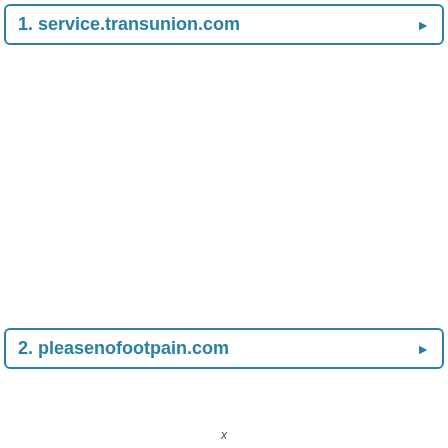1. service.transunion.com
2. pleasenofootpain.com